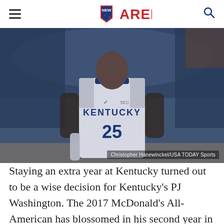NEW ARENA
[Figure (photo): Kentucky basketball player wearing #25 jersey (PJ Washington) on a basketball court during a game. Photo credit: Christopher Hanewinckel/USA TODAY Sports]
Christopher Hanewinckel/USA TODAY Sports
Staying an extra year at Kentucky turned out to be a wise decision for Kentucky's PJ Washington. The 2017 McDonald's All-American has blossomed in his second year in Lexington, emerging as an efficient finisher and impact